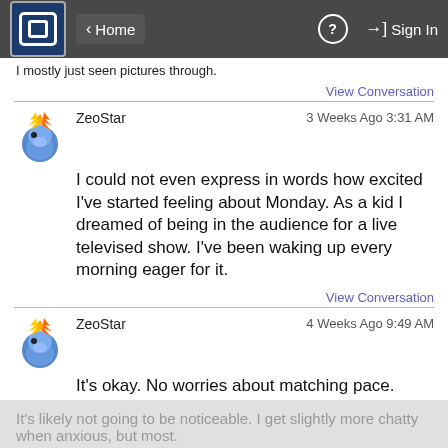Home  Sign In
I mostly just seen pictures through.
View Conversation
ZeoStar  3 Weeks Ago 3:31 AM
I could not even express in words how excited I've started feeling about Monday. As a kid I dreamed of being in the audience for a live televised show. I've been waking up every morning eager for it.
View Conversation
ZeoStar  4 Weeks Ago 9:49 AM
It's okay. No worries about matching pace. Thank you for taking the time respond to these messages so thoughtfully.
It's likely not going to be noticeable. I get slightly more chatty when anxious, but most.